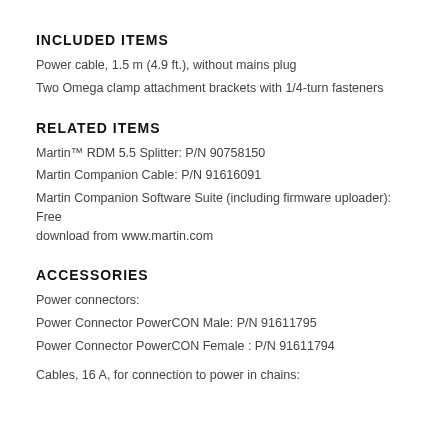INCLUDED ITEMS
Power cable, 1.5 m (4.9 ft.), without mains plug
Two Omega clamp attachment brackets with 1/4-turn fasteners
RELATED ITEMS
Martin™ RDM 5.5 Splitter: P/N 90758150
Martin Companion Cable: P/N 91616091
Martin Companion Software Suite (including firmware uploader): Free download from www.martin.com
ACCESSORIES
Power connectors:
Power Connector PowerCON Male: P/N 91611795
Power Connector PowerCON Female : P/N 91611794
Cables, 16 A, for connection to power in chains: